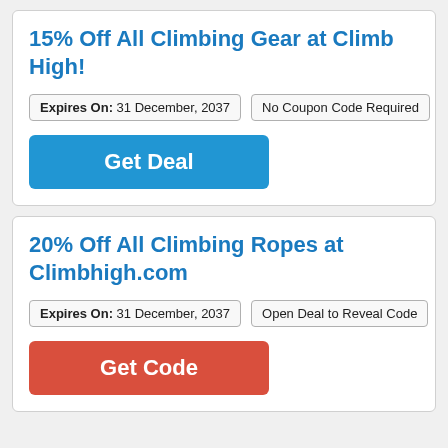15% Off All Climbing Gear at Climb High!
Expires On: 31 December, 2037   No Coupon Code Required
Get Deal
20% Off All Climbing Ropes at Climbhigh.com
Expires On: 31 December, 2037   Open Deal to Reveal Code
Get Code